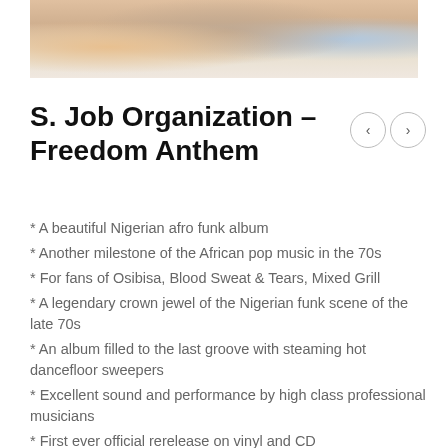[Figure (photo): Partial photo of what appears to be people or figures in warm/colourful setting, cropped at the top of the page]
S. Job Organization – Freedom Anthem
* A beautiful Nigerian afro funk album
* Another milestone of the African pop music in the 70s
* For fans of Osibisa, Blood Sweat & Tears, Mixed Grill
* A legendary crown jewel of the Nigerian funk scene of the late 70s
* An album filled to the last groove with steaming hot dancefloor sweepers
* Excellent sound and performance by high class professional musicians
* First ever official rerelease on vinyl and CD
* Fully licensed